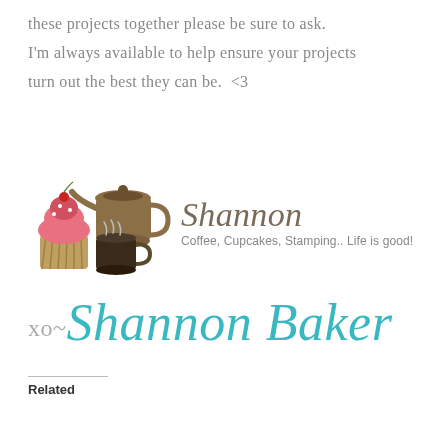these projects together please be sure to ask. I'm always available to help ensure your projects turn out the best they can be.  <3
[Figure (logo): Shannon Baker blog logo with cupcake, coffee pot, and coffee mug illustrations, name 'Shannon' in italic brown script, tagline 'Coffee, Cupcakes, Stamping.. Life is good!' followed by cursive signature 'xo~Shannon Baker' in teal]
Related